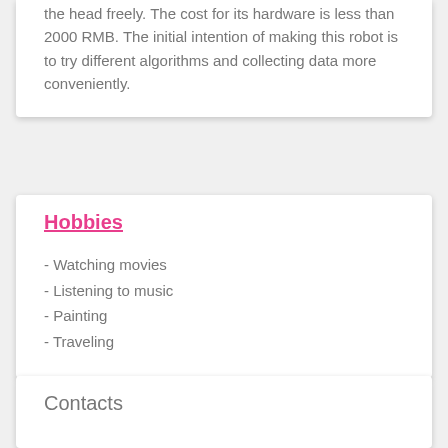the head freely. The cost for its hardware is less than 2000 RMB. The initial intention of making this robot is to try different algorithms and collecting data more conveniently.
Hobbies
- Watching movies
- Listening to music
- Painting
- Traveling
Contacts